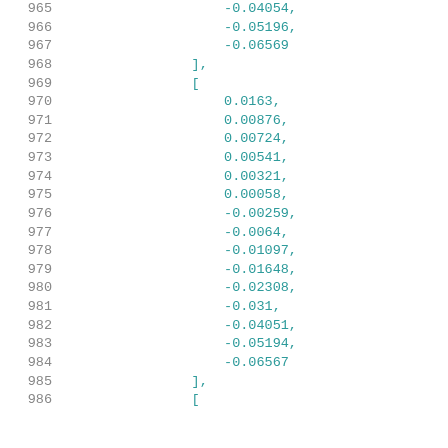965    -0.04054,
966    -0.05196,
967    -0.06569
968    ],
969    [
970        0.0163,
971        0.00876,
972        0.00724,
973        0.00541,
974        0.00321,
975        0.00058,
976        -0.00259,
977        -0.0064,
978        -0.01097,
979        -0.01648,
980        -0.02308,
981        -0.031,
982        -0.04051,
983        -0.05194,
984        -0.06567
985    ],
986    [